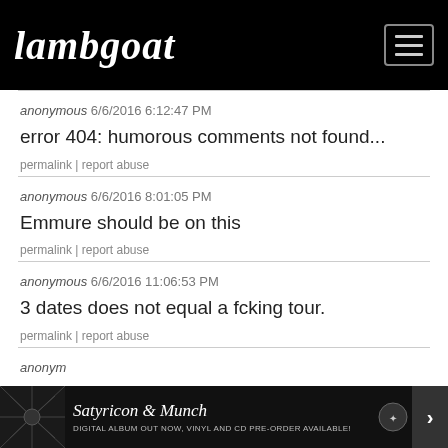Lambgoat
anonymous 6/6/2016 6:12:47 PM
error 404: humorous comments not found...
permalink | report abuse
anonymous 6/6/2016 8:01:05 PM
Emmure should be on this
permalink | report abuse
anonymous 6/6/2016 11:06:53 PM
3 dates does not equal a fcking tour.
permalink | report abuse
anonym...
[Figure (infographic): Advertisement banner for Satyricon & Munch: Digital album out now, vinyl and CD pre-order available!]